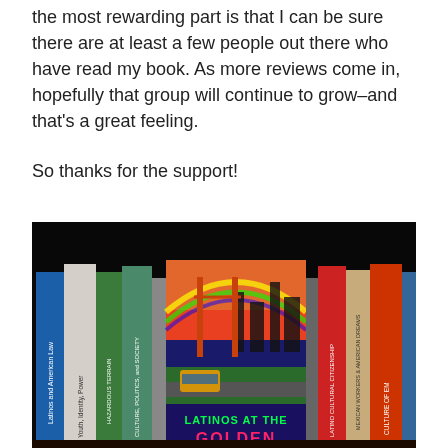the most rewarding part is that I can be sure there are at least a few people out there who have read my book. As more reviews come in, hopefully that group will continue to grow–and that's a great feeling.
So thanks for the support!
[Figure (photo): Photo of a bookshelf showing several books including 'Latinos at the Golden...' (partially visible at bottom), 'Youth, Identity, Power', 'Culture, Politics, and Society', 'Latino Cultural Citizenship', 'Culture of Em...', 'Latinos and American Law', and others. The central book has a colorful illustrated cover.]